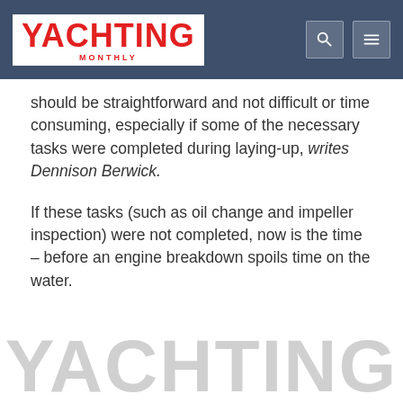Yachting Monthly
should be straightforward and not difficult or time consuming, especially if some of the necessary tasks were completed during laying-up, writes Dennison Berwick.
If these tasks (such as oil change and impeller inspection) were not completed, now is the time – before an engine breakdown spoils time on the water.
[Figure (logo): Yachting Monthly watermark logo in light grey at bottom of page]